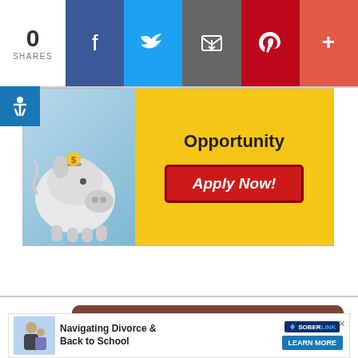[Figure (screenshot): Social share bar with 0 shares count, and icons for Facebook (blue), Twitter (light blue), Email (dark gray), Pinterest (red), and more+ (salmon/orange-red)]
[Figure (screenshot): Advertisement banner showing a piggy bank on blue background (left) and yellow background with text 'Opportunity' and a red 'Apply Now!' button (right)]
[Figure (photo): Photo on dark wood background showing a wooden figurine of a person climbing stair-like wooden blocks, with a hand placing the top block. Text overlay reads 'Free Coaching for Divorce']
[Figure (screenshot): Bottom advertisement banner: 'Navigating Divorce & Back to School' with a child photo, Soberlink logo, and 'LEARN MORE' button. Close X button in top right.]